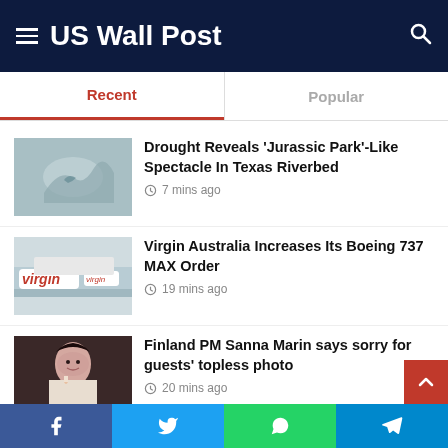US Wall Post
Recent | Popular
Drought Reveals ‘Jurassic Park’-Like Spectacle In Texas Riverbed
7 mins ago
Virgin Australia Increases Its Boeing 737 MAX Order
19 mins ago
Finland PM Sanna Marin says sorry for guests’ topless photo
20 mins ago
IAG Purchases 26 Million Gallons Of SAF To Power Flights Out Of San
Facebook | Twitter | WhatsApp | Telegram